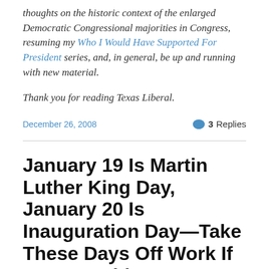thoughts on the historic context of the enlarged Democratic Congressional majorities in Congress, resuming my Who I Would Have Supported For President series, and, in general, be up and running with new material.
Thank you for reading Texas Liberal.
December 26, 2008   3 Replies
January 19 Is Martin Luther King Day, January 20 Is Inauguration Day—Take These Days Off Work If You Are Able